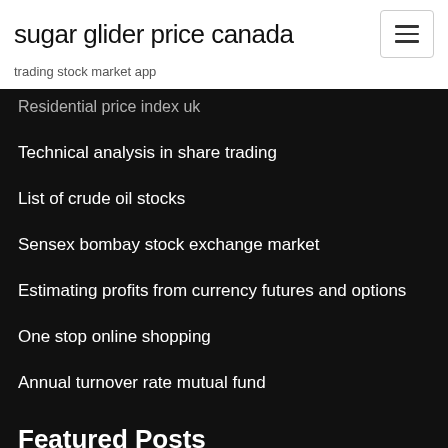sugar glider price canada
trading stock market app
Residential price index uk
Technical analysis in share trading
List of crude oil stocks
Sensex bombay stock exchange market
Estimating profits from currency futures and options
One stop online shopping
Annual turnover rate mutual fund
Featured Posts
Reviews for online trading academy